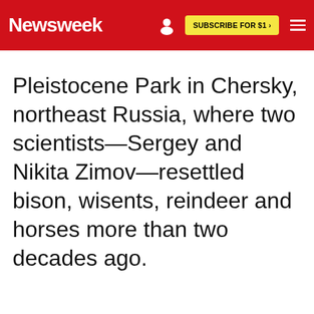Newsweek — SUBSCRIBE FOR $1 >
Pleistocene Park in Chersky, northeast Russia, where two scientists—Sergey and Nikita Zimov—resettled bison, wisents, reindeer and horses more than two decades ago.